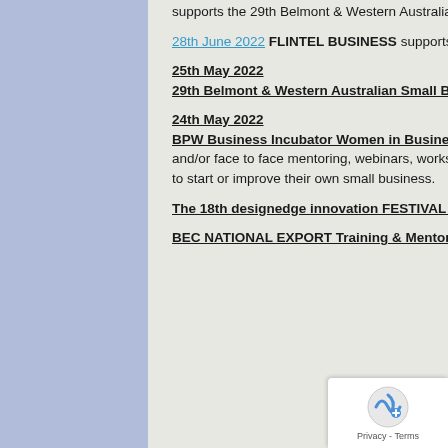supports the 29th Belmont & Western Australian Small Business Awards
28th June 2022 FLINTEL BUSINESS supports the 29th Belmont & Western Australian Small Business Awards
25th May 2022
29th Belmont & Western Australian Small Business Awards Launch
24th May 2022
BPW Business Incubator Women in Business Training and Mentoring Project – Offering free access via online and/or face to face mentoring, webinars, workshops and, mentoring, training, networking, and empowerment to women to start or improve their own small business.
The 18th designedge innovation FESTIVAL 2022
BEC NATIONAL EXPORT Training & Mentoring Project Flyer – Offering FREE...